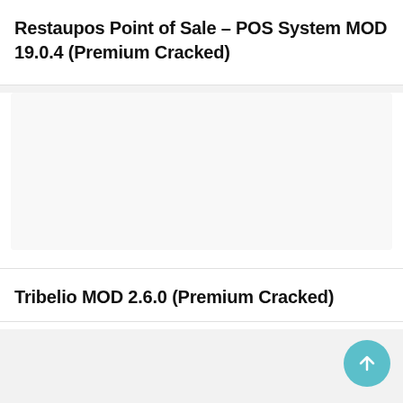Restaupos Point of Sale – POS System MOD 19.0.4 (Premium Cracked)
[Figure (other): Blank white image placeholder card]
Tribelio MOD 2.6.0 (Premium Cracked)